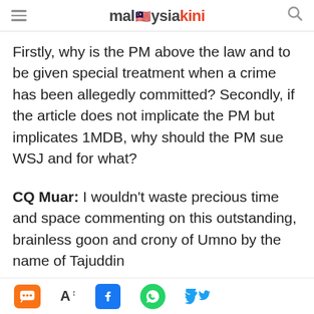malaysiakini
Firstly, why is the PM above the law and to be given special treatment when a crime has been allegedly committed? Secondly, if the article does not implicate the PM but implicates 1MDB, why should the PM sue WSJ and for what?
CQ Muar: I wouldn't waste precious time and space commenting on this outstanding, brainless goon and crony of Umno by the name of Tajuddin